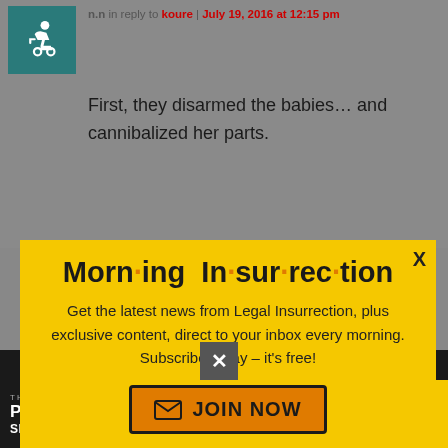in reply to koure | July 19, 2016 at 12:15 pm
First, they disarmed the babies... and cannibalized her parts.
[Figure (screenshot): Morning Insurrection newsletter signup modal popup with yellow background, close button X, title 'Morn·ing In·sur·rec·tion', body text 'Get the latest news from Legal Insurrection, plus exclusive content, direct to your inbox every morning. Subscribe today – it's free!', and an orange JOIN NOW button with envelope icon.]
http://patterico.m/2016/07/19/media
[Figure (screenshot): THE PERSPECTIVE advertisement banner with dark background, teal area, and yellow READ MORE button. Text reads 'SEE WHAT YOU'RE MISSING']